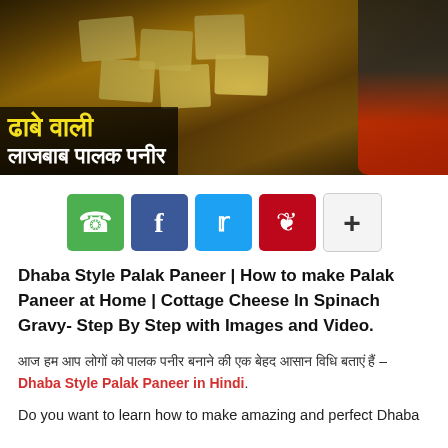[Figure (photo): Hero image showing Dhaba Style Palak Paneer in a pan with Hindi text overlay reading 'ढाबे वाली' in yellow and 'लाजबाब पालक पनीर' in white, and a woman in red on the right side]
[Figure (infographic): Row of social share buttons: WhatsApp (green), Facebook (blue), Twitter (cyan), Pinterest (red), and a plus/more button (grey)]
Dhaba Style Palak Paneer | How to make Palak Paneer at Home | Cottage Cheese In Spinach Gravy- Step By Step with Images and Video.
आज हम आप लोगों को पालक पनीर बनाने की एक बेहद आसान विधि बताएं हैं – Dhaba Style Palak Paneer in Hindi.
Do you want to learn how to make amazing and perfect Dhaba